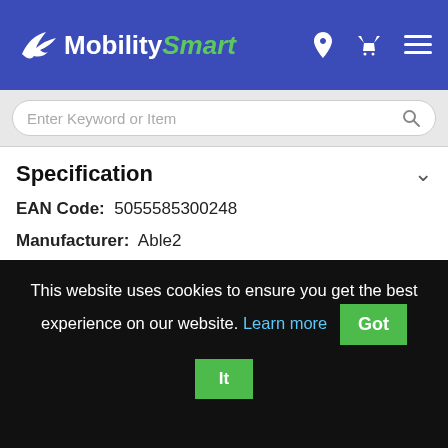[Figure (logo): MobilitySmart logo with white bird and green italic 'Smart' text on blue header background]
Enter Keyword or Item
Specification
EAN Code:  5055585300248
Manufacturer:  Able2
Swivel Function:  No
Cushion Core Type:  Standard Foam
Cushion Pressure Care Rating:  Low
This website uses cookies to ensure you get the best experience on our website. Learn more  Got It